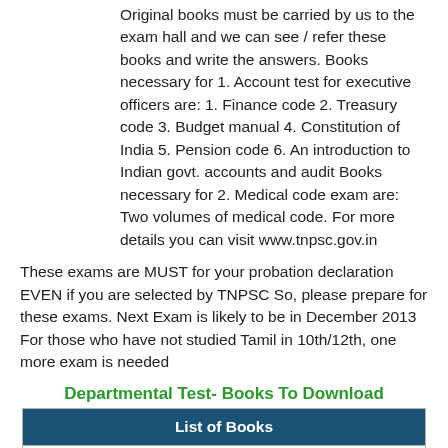Original books must be carried by us to the exam hall and we can see / refer these books and write the answers. Books necessary for 1. Account test for executive officers are: 1. Finance code 2. Treasury code 3. Budget manual 4. Constitution of India 5. Pension code 6. An introduction to Indian govt. accounts and audit Books necessary for 2. Medical code exam are: Two volumes of medical code. For more details you can visit www.tnpsc.gov.in
These exams are MUST for your probation declaration EVEN if you are selected by TNPSC So, please prepare for these exams. Next Exam is likely to be in December 2013 For those who have not studied Tamil in 10th/12th, one more exam is needed
Departmental Test- Books To Download
| List of Books |
| --- |
| Constitution Of India |
| Fundamendal Rules of Tamilnadu |
| Tamil Nadu State and Subordinate Rules |